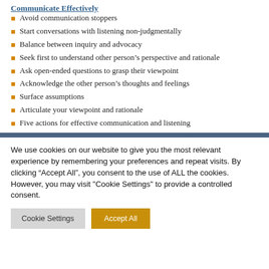Communicate Effectively
Avoid communication stoppers
Start conversations with listening non-judgmentally
Balance between inquiry and advocacy
Seek first to understand other person's perspective and rationale
Ask open-ended questions to grasp their viewpoint
Acknowledge the other person's thoughts and feelings
Surface assumptions
Articulate your viewpoint and rationale
Five actions for effective communication and listening
We use cookies on our website to give you the most relevant experience by remembering your preferences and repeat visits. By clicking “Accept All”, you consent to the use of ALL the cookies. However, you may visit "Cookie Settings" to provide a controlled consent.